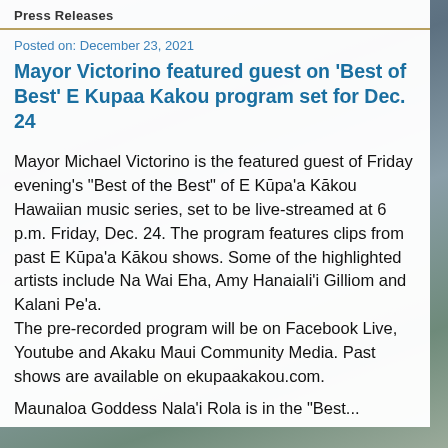Press Releases
Posted on: December 23, 2021
Mayor Victorino featured guest on 'Best of Best' E Kupaa Kakou program set for Dec. 24
Mayor Michael Victorino is the featured guest of Friday evening’s “Best of the Best” of E Kūpaʻa Kākou Hawaiian music series, set to be live-streamed at 6 p.m. Friday, Dec. 24. The program features clips from past E Kūpaʻa Kākou shows. Some of the highlighted artists include Na Wai Eha, Amy Hanaialiʻi Gilliom and Kalani Peʻa. The pre-recorded program will be on Facebook Live, Youtube and Akaku Maui Community Media. Past shows are available on ekupaakakou.com.
Maunaloa Goddess Nalaʻi Rola is in the “Best...